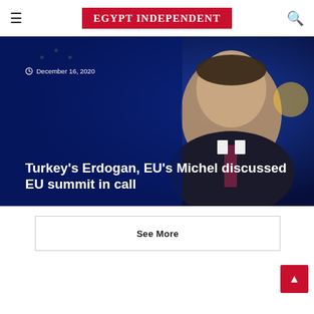EGYPT INDEPENDENT
[Figure (photo): Photo of Turkey's President Erdogan against a dark blue background with EU flag, with headline overlay: 'Turkey's Erdogan, EU's Michel discussed EU summit in call', dated December 16, 2020]
See More
^